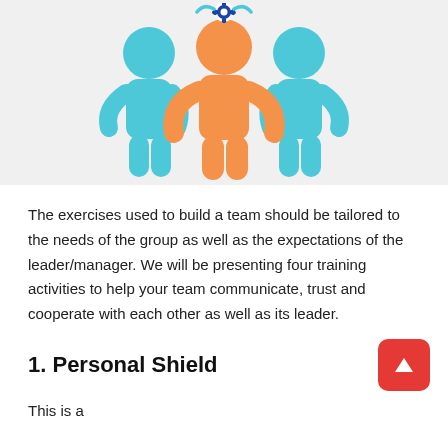[Figure (illustration): Illustration of three stylized figures: a central orange figure with a blue gear/cog icon above their head, flanked by two teal/cyan figures, all with hands on hips, set against a light gray textured background.]
The exercises used to build a team should be tailored to the needs of the group as well as the expectations of the leader/manager. We will be presenting four training activities to help your team communicate, trust and cooperate with each other as well as its leader.
1. Personal Shield
This is a description fragment starting with 'This is...' (partially visible at bottom)